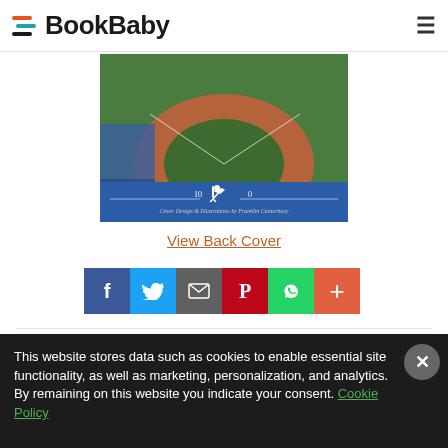BookBaby
[Figure (photo): Aerial view of a baseball field with players, crowd, and a batter silhouette on a blue banner. Cover design and illustrations by Franklin Canterbury.]
View Back Cover
[Figure (infographic): Social sharing buttons: Facebook, Twitter, Email, Pinterest, WhatsApp, and a plus/more button.]
This website stores data such as cookies to enable essential site functionality, as well as marketing, personalization, and analytics. By remaining on this website you indicate your consent. Cookie Policy